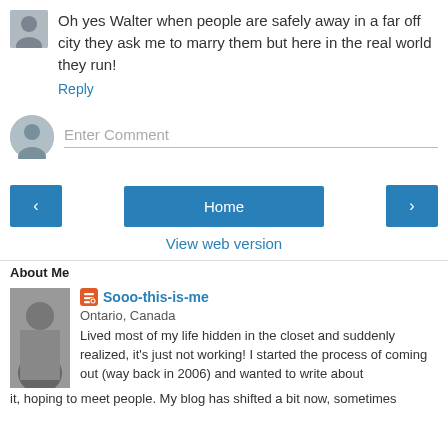Oh yes Walter when people are safely away in a far off city they ask me to marry them but here in the real world they run!
Reply
Enter Comment
Home
View web version
About Me
Sooo-this-is-me
Ontario, Canada
Lived most of my life hidden in the closet and suddenly realized, it's just not working! I started the process of coming out (way back in 2006) and wanted to write about it, hoping to meet people. My blog has shifted a bit now, sometimes